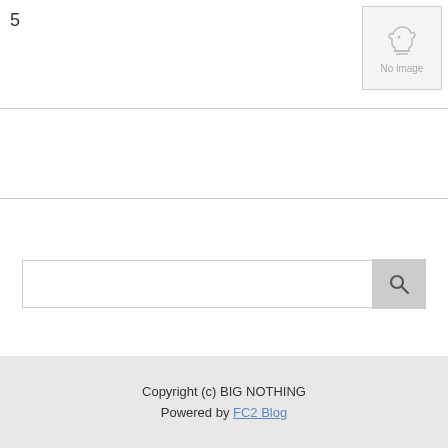5
[Figure (other): No Image placeholder with chess knight icon]
| PC　　　 |
Copyright (c) BIG NOTHING
Powered by FC2 Blog